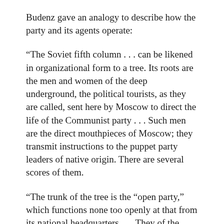Budenz gave an analogy to describe how the party and its agents operate:
“The Soviet fifth column . . . can be likened in organizational form to a tree. Its roots are the men and women of the deep underground, the political tourists, as they are called, sent here by Moscow to direct the life of the Communist party . . . Such men are the direct mouthpieces of Moscow; they transmit instructions to the puppet party leaders of native origin. There are several scores of them.
“The trunk of the tree is the “open party,” which functions none too openly at that from its national headquarters . . . They of the trunk are the means of contact which the men of the roots have with those concealed in the